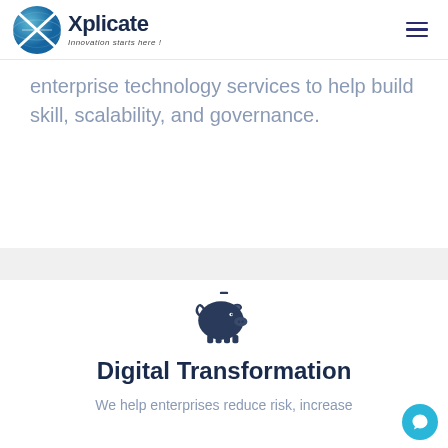Xplicate — Innovation starts here!
enterprise technology services to help build skill, scalability, and governance.
[Figure (illustration): Dark blue piggy bank icon]
Digital Transformation
We help enterprises reduce risk, increase